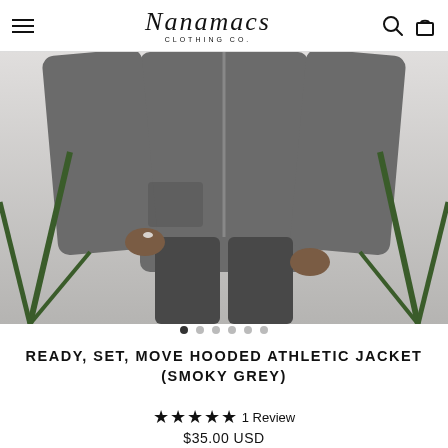Nanamacs Clothing Co.
[Figure (photo): Woman wearing a smoky grey hooded athletic jacket and matching grey leggings, hands in pockets, with tropical plants in the background]
● ○ ○ ○ ○ ○
READY, SET, MOVE HOODED ATHLETIC JACKET (SMOKY GREY)
★★★★★ 1 Review
$35.00 USD